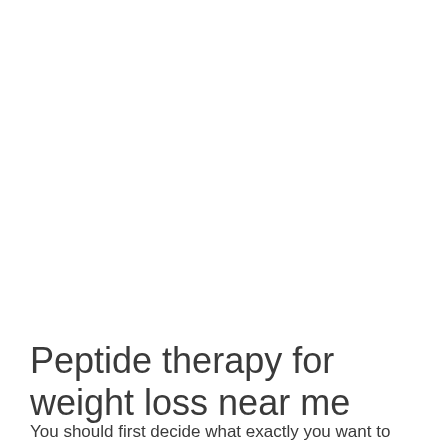Peptide therapy for weight loss near me
You should first decide what exactly you want to use a peptide for, weight loss or